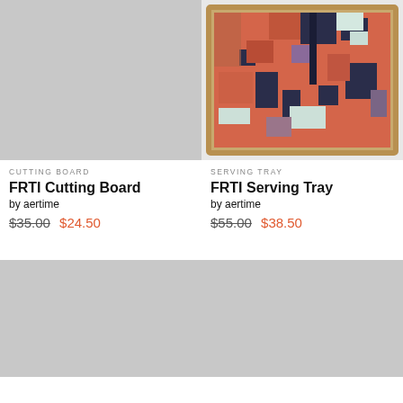[Figure (photo): Gray placeholder image for FRTI Cutting Board product]
CUTTING BOARD
FRTI Cutting Board
by aertime
$35.00 $24.50
[Figure (photo): FRTI Serving Tray product image showing abstract collage art with red, dark blue, and white geometric shapes in a wooden frame]
SERVING TRAY
FRTI Serving Tray
by aertime
$55.00 $38.50
[Figure (photo): Gray placeholder image for bottom-left product]
[Figure (photo): Gray placeholder image for bottom-right product]